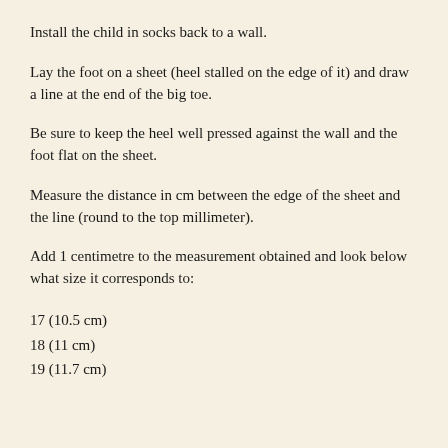Install the child in socks back to a wall.
Lay the foot on a sheet (heel stalled on the edge of it) and draw a line at the end of the big toe.
Be sure to keep the heel well pressed against the wall and the foot flat on the sheet.
Measure the distance in cm between the edge of the sheet and the line (round to the top millimeter).
Add 1 centimetre to the measurement obtained and look below what size it corresponds to:
17 (10.5 cm)
18 (11 cm)
19 (11.7 cm)